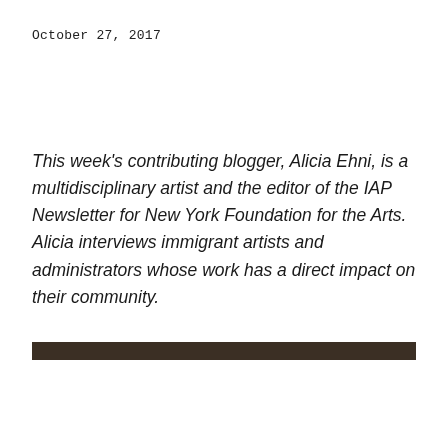October 27, 2017
This week's contributing blogger, Alicia Ehni, is a multidisciplinary artist and the editor of the IAP Newsletter for New York Foundation for the Arts. Alicia interviews immigrant artists and administrators whose work has a direct impact on their community.